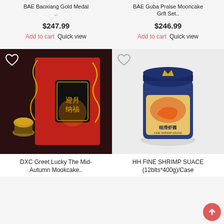BAE Baoxiang Gold Medal ..
$247.99
Add to cart  Quick view
BAE Guba Praise Mooncake Grft Set..
$246.99
Add to cart  Quick view
[Figure (photo): Red dragon-design mooncake gift box with Chinese characters 迎月纳福, displayed with a mooncake on a stand against dark background]
[Figure (photo): Blue jar of HH Fine Shrimp Sauce (细滑虾酱) with shrimp image on label, 12blts*400g/Case]
DXC Greet Lucky The Mid-Autumn Mookcake..
HH FINE SHRIMP SUACE (12blts*400g)/Case